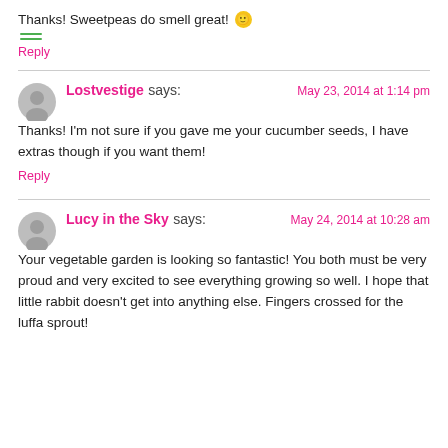Thanks! Sweetpeas do smell great! 🙂
Reply
Lostvestige says:  May 23, 2014 at 1:14 pm
Thanks! I'm not sure if you gave me your cucumber seeds, I have extras though if you want them!
Reply
Lucy in the Sky says:  May 24, 2014 at 10:28 am
Your vegetable garden is looking so fantastic! You both must be very proud and very excited to see everything growing so well. I hope that little rabbit doesn't get into anything else. Fingers crossed for the luffa sprout!